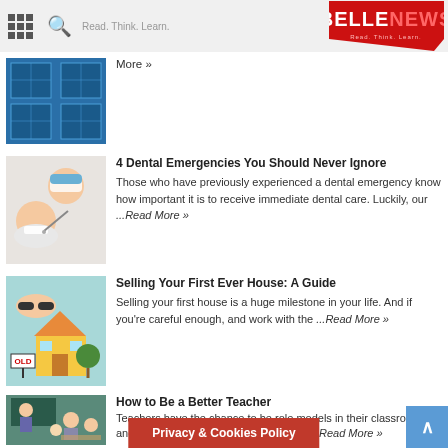BELLE NEWS - Read. Think. Learn.
More »
4 Dental Emergencies You Should Never Ignore
Those who have previously experienced a dental emergency know how important it is to receive immediate dental care. Luckily, our ...Read More »
Selling Your First Ever House: A Guide
Selling your first house is a huge milestone in your life. And if you're careful enough, and work with the ...Read More »
How to Be a Better Teacher
Teachers have the chance to be role models in their classrooms and at school. But what does it imply to ...Read More »